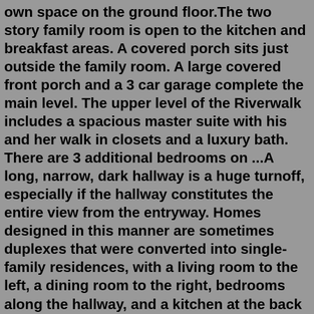own space on the ground floor.The two story family room is open to the kitchen and breakfast areas. A covered porch sits just outside the family room. A large covered front porch and a 3 car garage complete the main level. The upper level of the Riverwalk includes a spacious master suite with his and her walk in closets and a luxury bath. There are 3 additional bedrooms on ...A long, narrow, dark hallway is a huge turnoff, especially if the hallway constitutes the entire view from the entryway. Homes designed in this manner are sometimes duplexes that were converted into single-family residences, with a living room to the left, a dining room to the right, bedrooms along the hallway, and a kitchen at the back of the house.When you are looking for 4 bedroom house plans, you will come across a lot of different styles of home and layouts. Homes with two stories might have all of the bedrooms on the top floor. In many cases the master suit would be located on the first floor and the other bedrooms on the second floor. For 4 bedroom single story house plans, the... The best split bedroom house...